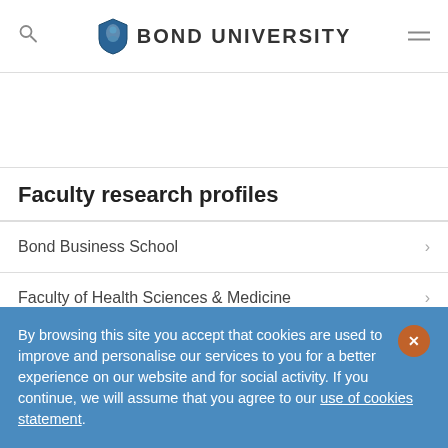Bond University
Faculty research profiles
Bond Business School
Faculty of Health Sciences & Medicine
By browsing this site you accept that cookies are used to improve and personalise our services to you for a better experience on our website and for social activity. If you continue, we will assume that you agree to our use of cookies statement.